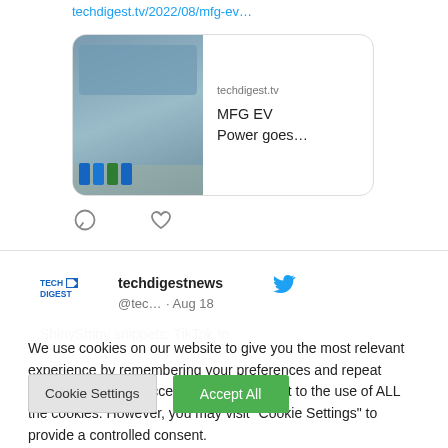techdigest.tv/2022/08/mfg-ev…
[Figure (screenshot): Link preview card showing an image of blue barrels/solar panels with text: techdigest.tv / MFG EV Power goes...]
[Figure (other): Comment icon (speech bubble outline) and heart/like icon]
[Figure (screenshot): Tweet from techdigestnews @tec... · Aug 18 with Twitter bird logo and Tech Digest logo]
ShinyShiny snippets: TikTok to
We use cookies on our website to give you the most relevant experience by remembering your preferences and repeat visits. By clicking "Accept All", you consent to the use of ALL the cookies. However, you may visit "Cookie Settings" to provide a controlled consent.
Cookie Settings
Accept All